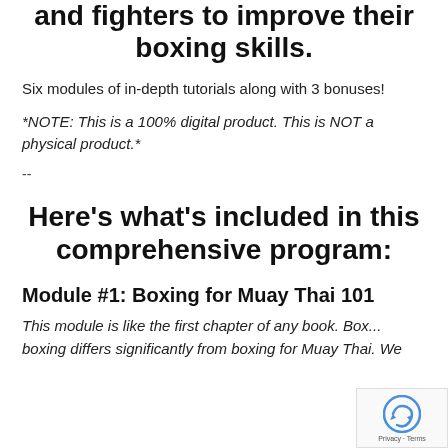and fighters to improve their boxing skills.
Six modules of in-depth tutorials along with 3 bonuses!
*NOTE: This is a 100% digital product. This is NOT a physical product.*
--
Here's what's included in this comprehensive program:
Module #1: Boxing for Muay Thai 101
This module is like the first chapter of any book. Box... boxing differs significantly from boxing for Muay Thai. We